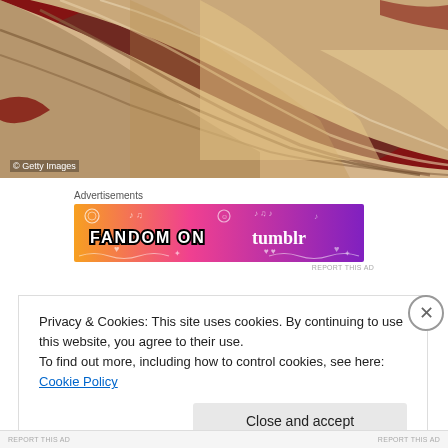[Figure (photo): Close-up photo of flowing fabric/dress on a red carpet background. Fabric appears to be a beige/tan layered gown. Getty Images watermark in lower left.]
© Getty Images
Advertisements
[Figure (illustration): Fandom on Tumblr advertisement banner with orange-to-purple gradient background and white illustrated doodles of music notes, hearts, and other icons. Text reads FANDOM ON tumblr.]
REPORT THIS AD
Privacy & Cookies: This site uses cookies. By continuing to use this website, you agree to their use.
To find out more, including how to control cookies, see here: Cookie Policy